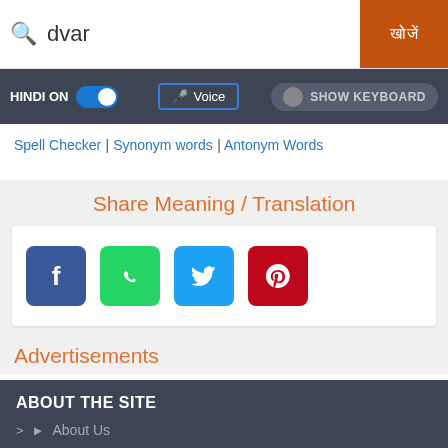[Figure (screenshot): Search bar with 'dvar' typed in the input field and an orange search button with Hindi characters]
[Figure (screenshot): Control bar with HINDI ON toggle, Voice button, and SHOW KEYBOARD toggle]
Spell Checker | Synonym words | Antonym Words
Share Meaning / Translation
[Figure (infographic): Social share buttons: Facebook, WhatsApp, Twitter, Pinterest]
Advertisements
ABOUT THE SITE
About Us